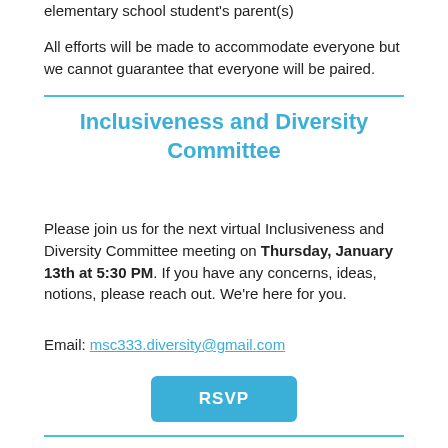elementary school student's parent(s)

All efforts will be made to accommodate everyone but we cannot guarantee that everyone will be paired.
Inclusiveness and Diversity Committee
Please join us for the next virtual Inclusiveness and Diversity Committee meeting on Thursday, January 13th at 5:30 PM. If you have any concerns, ideas, notions, please reach out. We're here for you.
Email: msc333.diversity@gmail.com
[Figure (other): RSVP button in blue]